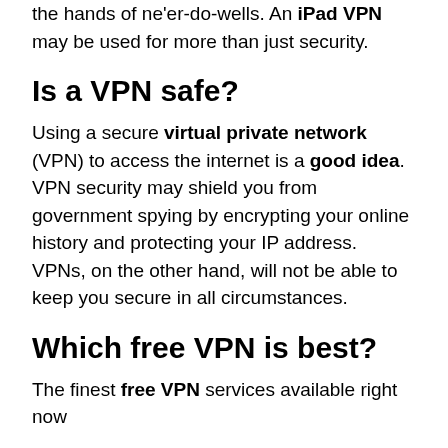the hands of ne'er-do-wells. An iPad VPN may be used for more than just security.
Is a VPN safe?
Using a secure virtual private network (VPN) to access the internet is a good idea. VPN security may shield you from government spying by encrypting your online history and protecting your IP address. VPNs, on the other hand, will not be able to keep you secure in all circumstances.
Which free VPN is best?
The finest free VPN services available right now